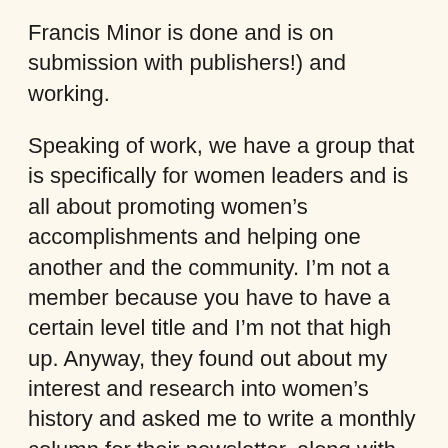Francis Minor is done and is on submission with publishers!) and working.
Speaking of work, we have a group that is specifically for women leaders and is all about promoting women’s accomplishments and helping one another and the community. I’m not a member because you have to have a certain level title and I’m not that high up. Anyway, they found out about my interest and research into women’s history and asked me to write a monthly column for their newsletter, along with compiling a list of “This Day in History” anniversaries of major U.S. female accomplishments. So I thought I would share that information here as well.
I’m going to share them as I finish them. This one is technically Dec. 2020.